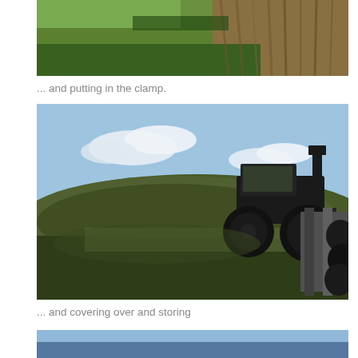[Figure (photo): Aerial or ground-level photo of a green grassy field with crop rows visible at the top]
... and putting in the clamp.
[Figure (photo): A large green tractor on top of a mound of green silage/maize, with concrete clamp walls and tyres visible to the right, blue sky with clouds in background]
... and covering over and storing
[Figure (photo): Partial view of another agricultural photo at the bottom of the page]